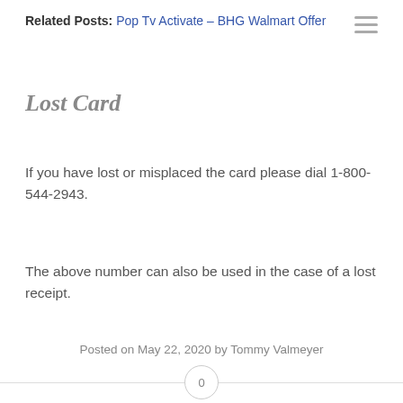Related Posts: Pop Tv Activate – BHG Walmart Offer
Lost Card
If you have lost or misplaced the card please dial 1-800-544-2943.
The above number can also be used in the case of a lost receipt.
Posted on May 22, 2020 by Tommy Valmeyer